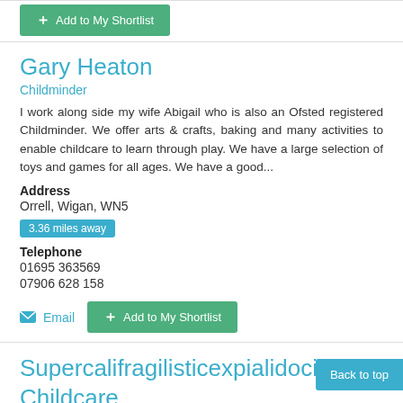Add to My Shortlist
Gary Heaton
Childminder
I work along side my wife Abigail who is also an Ofsted registered Childminder. We offer arts & crafts, baking and many activities to enable childcare to learn through play. We have a large selection of toys and games for all ages. We have a good...
Address
Orrell, Wigan, WN5
3.36 miles away
Telephone
01695 363569
07906 628 158
Email
Add to My Shortlist
Supercalifragilisticexpialidocious Childcare
Back to top